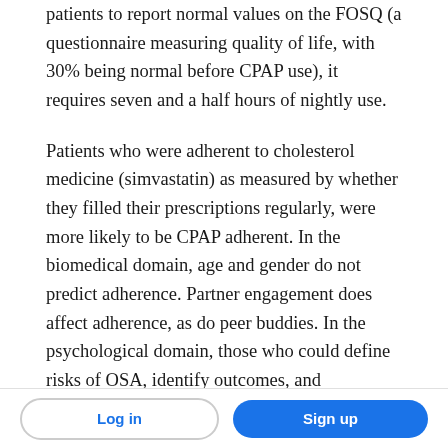patients to report normal values on the FOSQ (a questionnaire measuring quality of life, with 30% being normal before CPAP use), it requires seven and a half hours of nightly use.
Patients who were adherent to cholesterol medicine (simvastatin) as measured by whether they filled their prescriptions regularly, were more likely to be CPAP adherent. In the biomedical domain, age and gender do not predict adherence. Partner engagement does affect adherence, as do peer buddies. In the psychological domain, those who could define risks of OSA, identify outcomes, and
Log in | Sign up